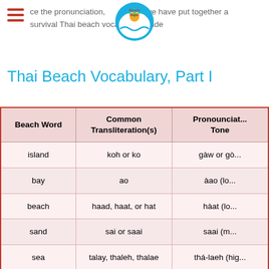ce the pronunciation, we have put together a survival Thai beach vocabulary guide
Thai Beach Vocabulary, Part I
| Beach Word | Common Transliteration(s) | Pronunciation / Tone |
| --- | --- | --- |
| island | koh or ko | gàw or gò... |
| bay | ao | àao (lo... |
| beach | haad, haat, or hat | hàat (lo... |
| sand | sai or saai | saai (m... |
| sea | talay, thaleh, thalae | thá-laeh (hig... |
| pier/harbour | taa/thaa-reua/reuua | thâa-re... (falling-r... |
| stone/rock | hin | hĭn (ris... |